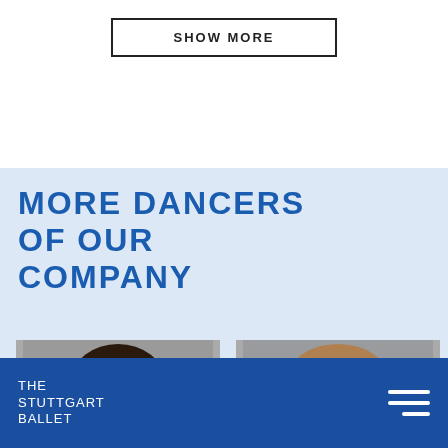SHOW MORE
MORE DANCERS OF OUR COMPANY
[Figure (photo): Portrait photo of a female ballet dancer with long dark hair, wearing a red top, against a gray background]
[Figure (photo): Portrait photo of a female ballet dancer with light brown wavy hair, smiling, wearing white lace top, against a gray background]
THE STUTTGART BALLET